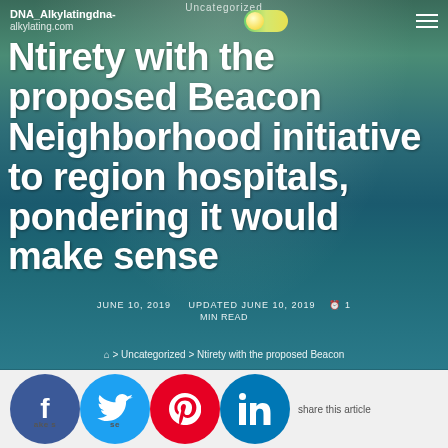Uncategorized
DNA_Alkylatingdna-
alkylating.com
Ntirety with the proposed Beacon Neighborhood initiative to region hospitals, pondering it would make sense
JUNE 10, 2019   UPDATED JUNE 10, 2019   1 MIN READ
⌂ > Uncategorized > Ntirety with the proposed Beacon